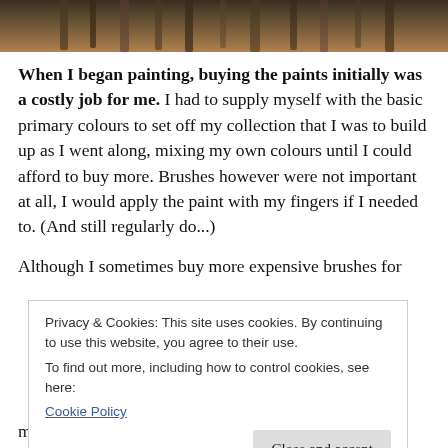[Figure (photo): Close-up photograph of paintbrushes, dark tones with brown and warm colors visible at the top of the page.]
When I began painting, buying the paints initially was a costly job for me. I had to supply myself with the basic primary colours to set off my collection that I was to build up as I went along, mixing my own colours until I could afford to buy more. Brushes however were not important at all, I would apply the paint with my fingers if I needed to. (And still regularly do...)
Although I sometimes buy more expensive brushes for
Privacy & Cookies: This site uses cookies. By continuing to use this website, you agree to their use.
To find out more, including how to control cookies, see here:
Cookie Policy
mouse at the office for me) they often become raggedy